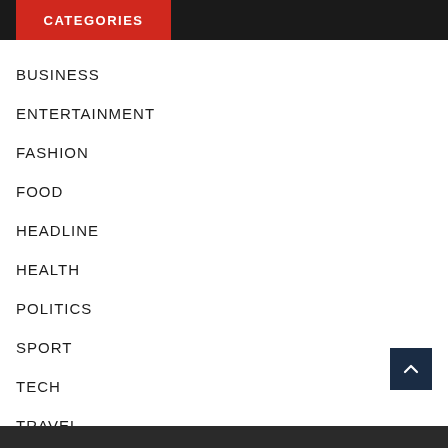CATEGORIES
BUSINESS
ENTERTAINMENT
FASHION
FOOD
HEADLINE
HEALTH
POLITICS
SPORT
TECH
TRAVEL